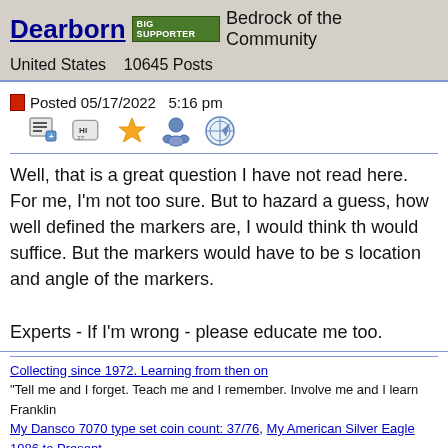Dearborn  BIG SUPPORTER  Bedrock of the Community
United States   10645 Posts
Posted 05/17/2022  5:16 pm
Well, that is a great question I have not read here. For me, I'm not too sure. But to hazard a guess, how well defined the markers are, I would think that would suffice. But the markers would have to be set location and angle of the markers.

Experts - If I'm wrong - please educate me too.
Collecting since 1972. Learning from then on
"Tell me and I forget. Teach me and I remember. Involve me and I learn" Franklin
My Dansco 7070 type set coin count: 37/76, My American Silver Eagle 1986 to Present